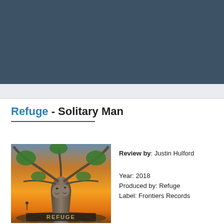[Figure (other): Dark teal/blue header banner background]
Refuge - Solitary Man
[Figure (illustration): Album cover artwork showing a twisted tree with faces embedded in it, dramatic orange/sunset sky background, with 'REFUGE' text at the bottom]
Review by: Justin Hulford
Year: 2018
Produced by: Refuge
Label: Frontiers Records